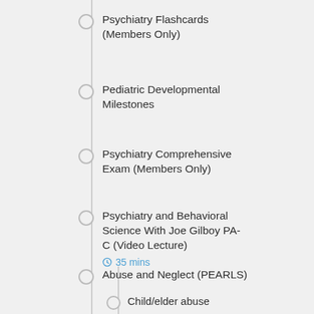Psychiatry Flashcards (Members Only)
Pediatric Developmental Milestones
Psychiatry Comprehensive Exam (Members Only)
Psychiatry and Behavioral Science With Joe Gilboy PA-C (Video Lecture)
⏱ 35 mins
Abuse and Neglect (PEARLS)
Child/elder abuse